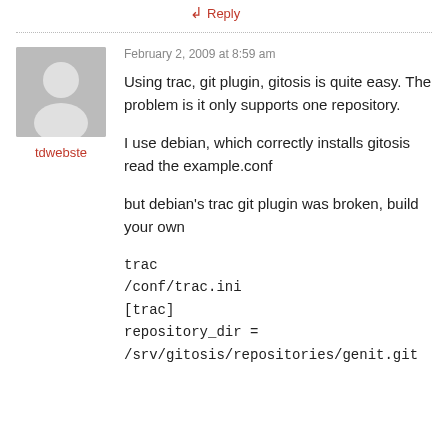↲ Reply
February 2, 2009 at 8:59 am
tdwebste
Using trac, git plugin, gitosis is quite easy. The problem is it only supports one repository.
I use debian, which correctly installs gitosis read the example.conf
but debian's trac git plugin was broken, build your own
trac
/conf/trac.ini
[trac]
repository_dir =
/srv/gitosis/repositories/genit.git